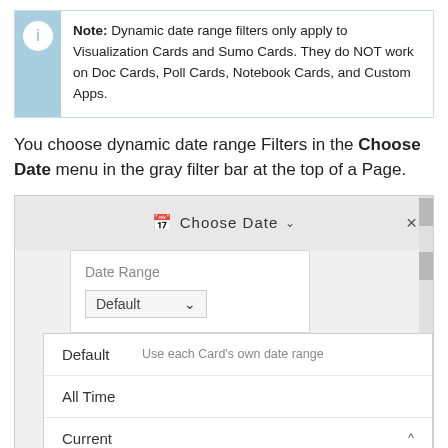Note: Dynamic date range filters only apply to Visualization Cards and Sumo Cards. They do NOT work on Doc Cards, Poll Cards, Notebook Cards, and Custom Apps.
You choose dynamic date range Filters in the Choose Date menu in the gray filter bar at the top of a Page.
[Figure (screenshot): Screenshot of a Choose Date dropdown UI showing Date Range selector with Default option, and a dropdown menu listing Default (Use each Card's own date range), All Time, and Current options.]